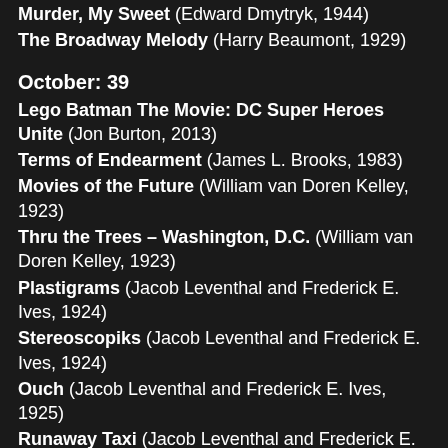Murder, My Sweet (Edward Dmytryk, 1944)
The Broadway Melody (Harry Beaumont, 1929)
October: 39
Lego Batman The Movie: DC Super Heroes Unite (Jon Burton, 2013)
Terms of Endearment (James L. Brooks, 1983)
Movies of the Future (William van Doren Kelley, 1923)
Thru the Trees – Washington, D.C. (William van Doren Kelley, 1923)
Plastigrams (Jacob Leventhal and Frederick E. Ives, 1924)
Stereoscopiks (Jacob Leventhal and Frederick E. Ives, 1924)
Ouch (Jacob Leventhal and Frederick E. Ives, 1925)
Runaway Taxi (Jacob Leventhal and Frederick E. Ives, 1925)
Audioscokpiks (Jacob Leventhal and John Norling, 1936)
Thrills for You (Pennsylvania Railroad, 1940)
New Dimensions (Chrysler, 1940)
Now is the Time (Norman McLaren, 1951)
Around and Around (Norman McLaren, 1951)
O Canada (Evelyn Lambert, 1952)